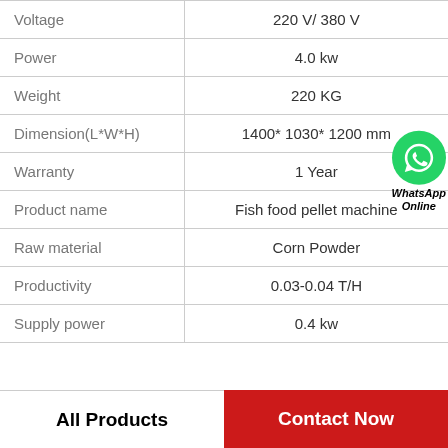| Property | Value |
| --- | --- |
| Voltage | 220 V/ 380 V |
| Power | 4.0 kw |
| Weight | 220 KG |
| Dimension(L*W*H) | 1400* 1030* 1200 mm |
| Warranty | 1 Year |
| Product name | Fish food pellet machine |
| Raw material | Corn Powder |
| Productivity | 0.03-0.04 T/H |
| Supply power | 0.4 kw |
WhatsApp Online
All Products   Contact Now